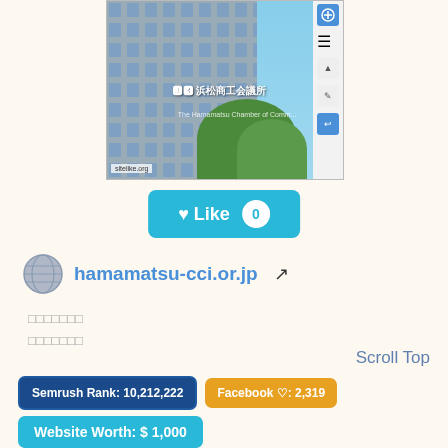[Figure (screenshot): Screenshot of hamamatsu-cci.or.jp website showing a building photo with Japanese text and sidebar icons]
♥ Like 0
hamamatsu-cci.or.jp ↗
□□□□□□□
□□□□□□□
Scroll Top
Semrush Rank: 10,212,222
Facebook ♡: 2,319
Website Worth: $ 1,000